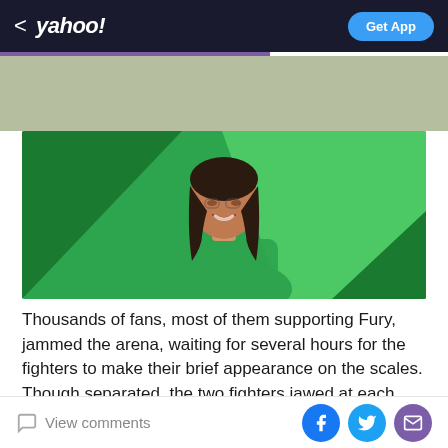< yahoo! | Get App
[Figure (photo): Yahoo advertisement banner with greenish-gray background]
[Figure (photo): Woman with dark hair smiling, wearing green top, against a green geometric background]
Thousands of fans, most of them supporting Fury, jammed the arena, waiting for several hours for the fighters to make their brief appearance on the scales. Though separated, the two fighters jawed at each other, much like they did at the press conference promoting the pay-per-view bout
View comments | Facebook | Twitter | Email